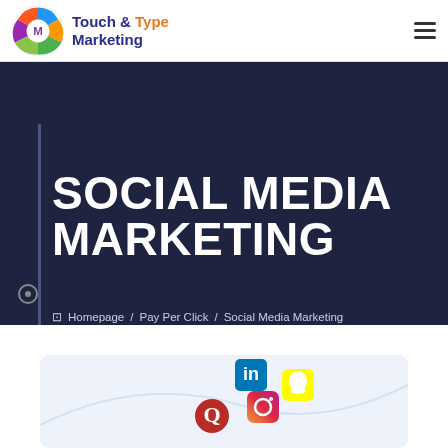[Figure (logo): Touch & Type Marketing circular logo with colorful segments and letter M in the center]
Touch & Type Marketing
SOCIAL MEDIA MARKETING
Homepage / Pay Per Click / Social Media Marketing
[Figure (illustration): Social media icons illustration including LinkedIn, Instagram, Snapchat, Quora icons floating above a curve]